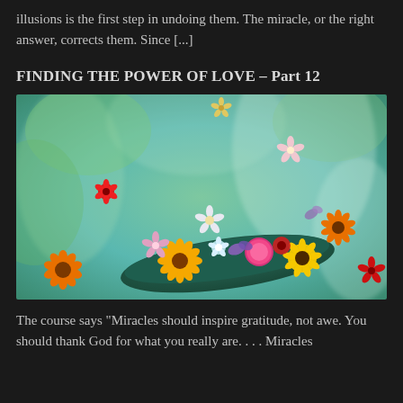illusions is the first step in undoing them. The miracle, or the right answer, corrects them. Since [...]
FINDING THE POWER OF LOVE – Part 12
[Figure (illustration): Colorful flowers floating in the air and gathered in a dark teal boat/leaf shape against a soft green and teal background. Various flowers including orange marigolds, pink carnations, white blossoms, red flowers, and purple petals are scattered throughout the image.]
The course says "Miracles should inspire gratitude, not awe. You should thank God for what you really are. . . . Miracles